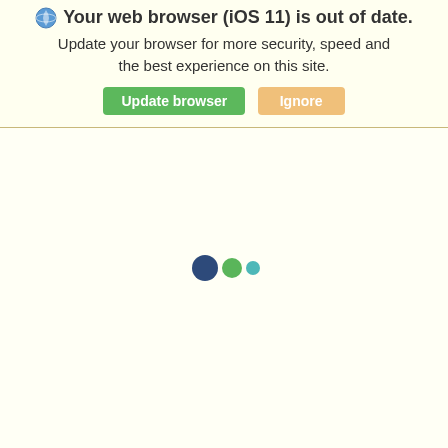Your web browser (iOS 11) is out of date. Update your browser for more security, speed and the best experience on this site.
[Figure (screenshot): Browser update banner with 'Update browser' green button and 'Ignore' tan/orange button, plus loading spinner dots (dark blue, green, teal) in main content area]